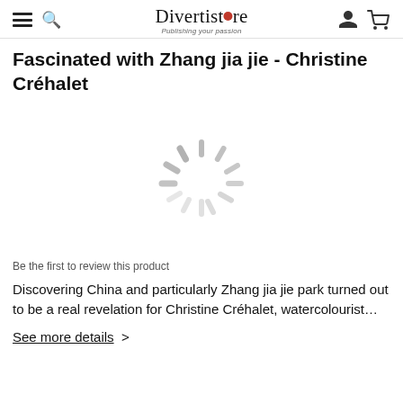Divertistore - Publishing your passion
Fascinated with Zhang jia jie - Christine Créhalet
[Figure (other): Loading spinner / throbber icon shown as a grey spinning wheel with dashes radiating from center]
Be the first to review this product
Discovering China and particularly Zhang jia jie park turned out to be a real revelation for Christine Créhalet, watercolourist…
See more details  >